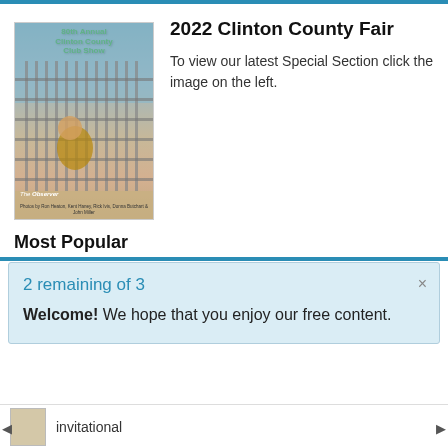[Figure (photo): Cover of 2022 Clinton County Fair Club Show special section from The Observer newspaper, showing a girl at a livestock show with fence/cage structures in background]
2022 Clinton County Fair
To view our latest Special Section click the image on the left.
Most Popular
2 remaining of 3
Welcome! We hope that you enjoy our free content.
invitational